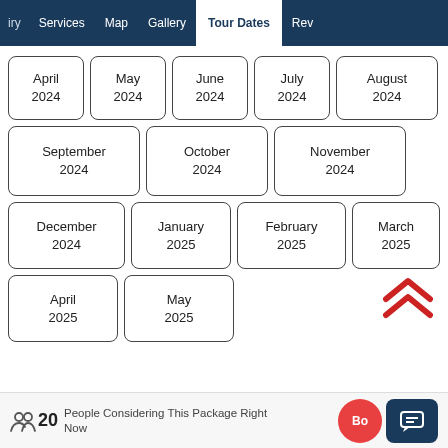iry  Services  Map  Gallery  Tour Dates  Rev
April 2024
May 2024
June 2024
July 2024
August 2024
September 2024
October 2024
November 2024
December 2024
January 2025
February 2025
March 2025
April 2025
May 2025
20 People Considering This Package Right Now